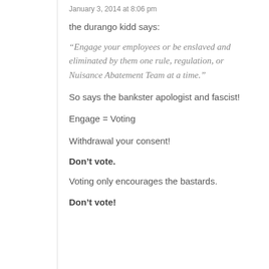January 3, 2014 at 8:06 pm
the durango kidd says:
“Engage your employees or be enslaved and eliminated by them one rule, regulation, or Nuisance Abatement Team at a time.”
So says the bankster apologist and fascist!
Engage = Voting
Withdrawal your consent!
Don’t vote.
Voting only encourages the bastards.
Don’t vote!